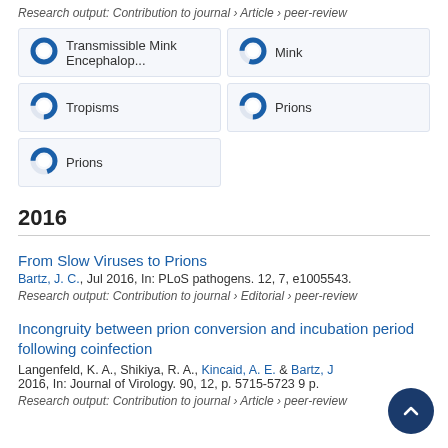Research output: Contribution to journal › Article › peer-review
[Figure (infographic): Five keyword badges with donut-style percentage icons: Transmissible Mink Encephalop... 100%, Mink ~80%, Tropisms ~75%, Prions (right) ~75%, Prions (left) ~70%]
2016
From Slow Viruses to Prions
Bartz, J. C., Jul 2016, In: PLoS pathogens. 12, 7, e1005543.
Research output: Contribution to journal › Editorial › peer-review
Incongruity between prion conversion and incubation period following coinfection
Langenfeld, K. A., Shikiya, R. A., Kincaid, A. E. & Bartz, J. C., 2016, In: Journal of Virology. 90, 12, p. 5715-5723 9 p.
Research output: Contribution to journal › Article › peer-review